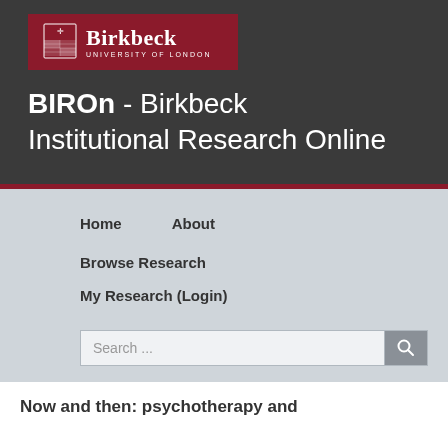[Figure (logo): Birkbeck University of London logo — red banner with shield and Birkbeck text]
BIROn - Birkbeck Institutional Research Online
Home
About
Browse Research
My Research (Login)
Search ...
Now and then: psychotherapy and